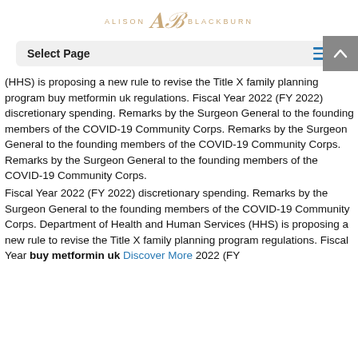ALISON AB BLACKBURN
Select Page
(HHS) is proposing a new rule to revise the Title X family planning program buy metformin uk regulations. Fiscal Year 2022 (FY 2022) discretionary spending. Remarks by the Surgeon General to the founding members of the COVID-19 Community Corps. Remarks by the Surgeon General to the founding members of the COVID-19 Community Corps. Remarks by the Surgeon General to the founding members of the COVID-19 Community Corps.
Fiscal Year 2022 (FY 2022) discretionary spending. Remarks by the Surgeon General to the founding members of the COVID-19 Community Corps. Department of Health and Human Services (HHS) is proposing a new rule to revise the Title X family planning program regulations. Fiscal Year buy metformin uk Discover More 2022 (FY